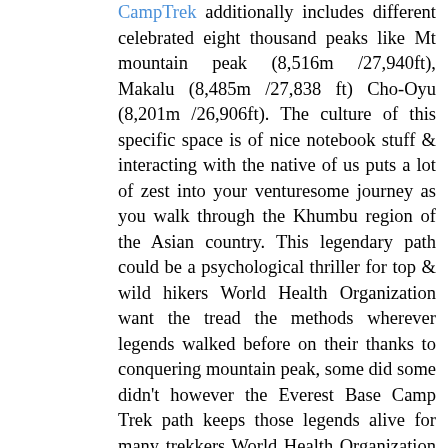CampTrek additionally includes different celebrated eight thousand peaks like Mt mountain peak (8,516m /27,940ft), Makalu (8,485m /27,838 ft) Cho-Oyu (8,201m /26,906ft). The culture of this specific space is of nice notebook stuff & interacting with the native of us puts a lot of zest into your venturesome journey as you walk through the Khumbu region of the Asian country. This legendary path could be a psychological thriller for top & wild hikers World Health Organization want the tread the methods wherever legends walked before on their thanks to conquering mountain peak, some did some didn't however the Everest Base Camp Trek path keeps those legends alive for many trekkers World Health Organization head to the present region. The trip begins with a stirring mountain flight to Lukla, one among the world's highest mountains; & as shortly as you set down at that altitude, the remainder is history. Your hike takes you to the favored village city of Namche, referred to as the 'gateway to the Khumbu'' & from there on you rehearse quiet monasteries with the acknowledge Sherpa of us World Health Organization inhabit this region & their culture is price noting. On the way, we have a tendency to visit the Sagarmatha parkland, home to some rare fauna & flora, this additionally wherever